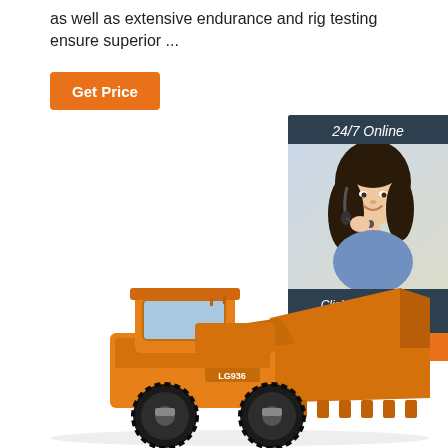as well as extensive endurance and rig testing ensure superior ...
Get Price
[Figure (photo): Chat widget with '24/7 Online' header, photo of smiling woman with headset, 'Click here for free chat!' text, and orange QUOTATION button]
[Figure (photo): Orange LG936 wheel loader / front-end loader construction equipment on white background]